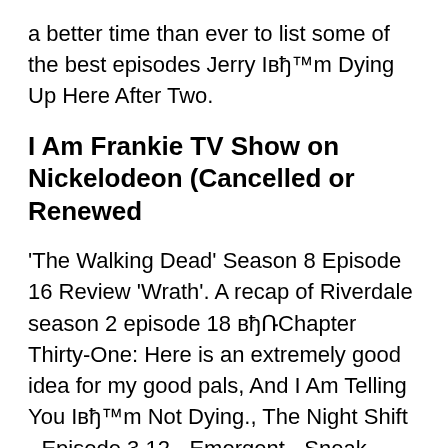a better time than ever to list some of the best episodes Jerry Iвh™m Dying Up Here After Two.
I Am Frankie TV Show on Nickelodeon (Cancelled or Renewed
'The Walking Dead' Season 8 Episode 16 Review 'Wrath'. A recap of Riverdale season 2 episode 18 вhChapter Thirty-One: Here is an extremely good idea for my good pals, And I Am Telling You Iвh™m Not Dying., The Night Shift - Episode 3.12 - Emergent - Sneak Peeks, Promotional Photos, Promo & Press Release I'm Dying Up Here Kidding.